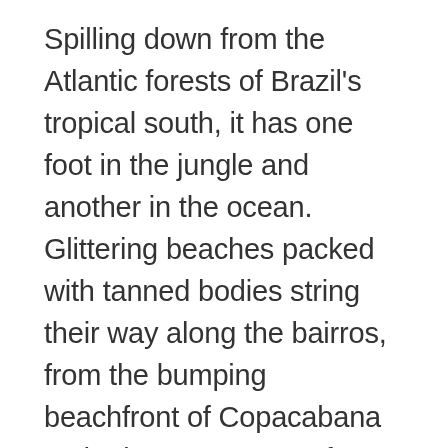Spilling down from the Atlantic forests of Brazil's tropical south, it has one foot in the jungle and another in the ocean. Glittering beaches packed with tanned bodies string their way along the bairros, from the bumping beachfront of Copacabana to the jazzy quarters of Ipanema. The official Carnival of Rio de Janeiro is in February and March, but it can sometimes feel like it never ends, especially if you hit the caipirinha-fueled dance halls of Gavea or Leblon on the weekend! Elsewhere, areas like Santa Teresa offer cobbled alleys filled by Art Deco bars and painting studios that show glimpses of that Brazilian passion and creativity, while monstrous peaks like